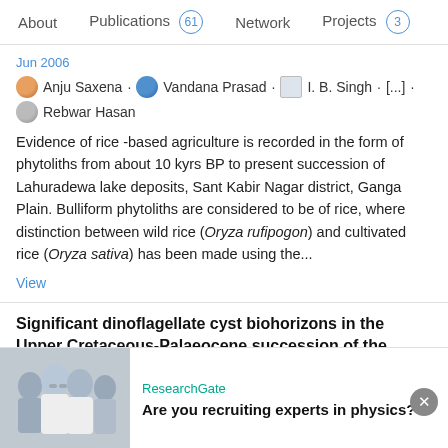About  |  Publications 61  |  Network  |  Projects 3
Jun 2006
Anju Saxena · Vandana Prasad · I. B. Singh · [...] · Rebwar Hasan
Evidence of rice -based agriculture is recorded in the form of phytoliths from about 10 kyrs BP to present succession of Lahuradewa lake deposits, Sant Kabir Nagar district, Ganga Plain. Bulliform phytoliths are considered to be of rice, where distinction between wild rice (Oryza rufipogon) and cultivated rice (Oryza sativa) has been made using the...
View
Significant dinoflagellate cyst biohorizons in the Upper Cretaceous-Palaeocene succession of the Khasi Hills, Meghalaya
Article  |  Full-text available
Advertisement
ResearchGate
Are you recruiting experts in physics?